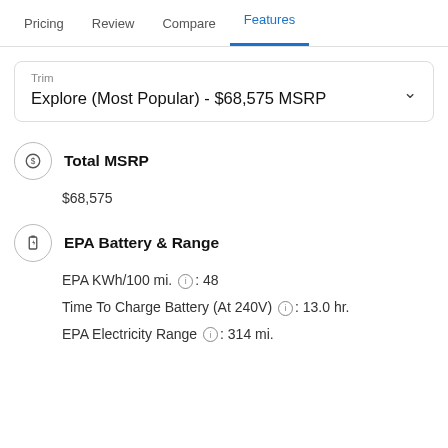Pricing   Review   Compare   Features
Trim
Explore (Most Popular) - $68,575 MSRP
Total MSRP
$68,575
EPA Battery & Range
EPA KWh/100 mi. ⓘ: 48
Time To Charge Battery (At 240V) ⓘ: 13.0 hr.
EPA Electricity Range ⓘ: 314 mi.